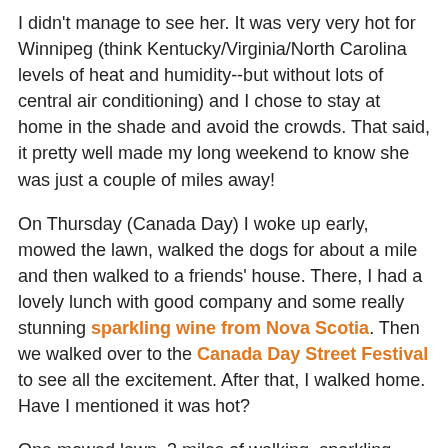I didn't manage to see her. It was very very hot for Winnipeg (think Kentucky/Virginia/North Carolina levels of heat and humidity--but without lots of central air conditioning) and I chose to stay at home in the shade and avoid the crowds. That said, it pretty well made my long weekend to know she was just a couple of miles away!
On Thursday (Canada Day) I woke up early, mowed the lawn, walked the dogs for about a mile and then walked to a friends' house. There, I had a lovely lunch with good company and some really stunning sparkling wine from Nova Scotia. Then we walked over to the Canada Day Street Festival to see all the excitement. After that, I walked home. Have I mentioned it was hot?
One mowed lawn, 3 miles of walking, sparkling wine and the heat made me decide that I was done with celebrating at about 3pm that afternoon. I worked on measuring out a new warp for my loom in my dining room. I missed the fireworks and was in bed by 9!
On Friday afternoon, I met friends for fish and chips at a